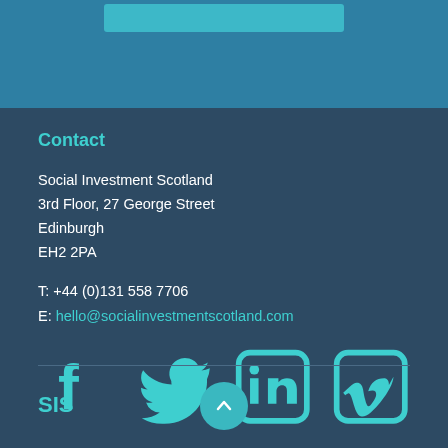Contact
Social Investment Scotland
3rd Floor, 27 George Street
Edinburgh
EH2 2PA
T: +44 (0)131 558 7706
E: hello@socialinvestmentscotland.com
[Figure (illustration): Social media icons: Facebook, Twitter, LinkedIn, Vimeo]
SIS